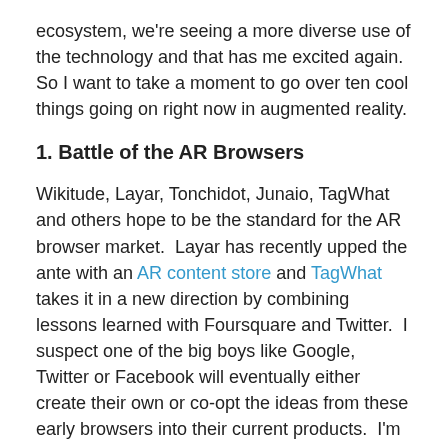ecosystem, we're seeing a more diverse use of the technology and that has me excited again.  So I want to take a moment to go over ten cool things going on right now in augmented reality.
1. Battle of the AR Browsers
Wikitude, Layar, Tonchidot, Junaio, TagWhat and others hope to be the standard for the AR browser market.  Layar has recently upped the ante with an AR content store and TagWhat takes it in a new direction by combining lessons learned with Foursquare and Twitter.  I suspect one of the big boys like Google, Twitter or Facebook will eventually either create their own or co-opt the ideas from these early browsers into their current products.  I'm not sure which horse to bet on in this race, but in the end we customers are the winners.